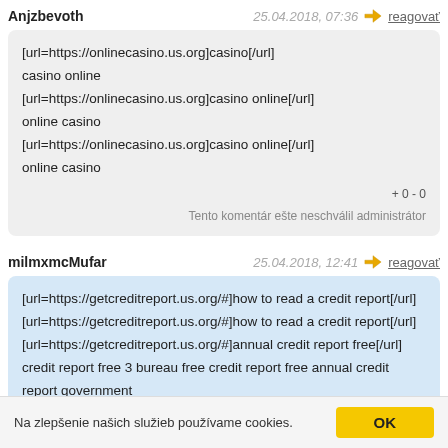Anjzbevoth — 25.04.2018, 07:36 — reagovať
[url=https://onlinecasino.us.org]casino[/url]
casino online
[url=https://onlinecasino.us.org]casino online[/url]
online casino
[url=https://onlinecasino.us.org]casino online[/url]
online casino
+0-0
Tento komentár ešte neschválil administrátor
milmxmcMufar — 25.04.2018, 12:41 — reagovať
[url=https://getcreditreport.us.org/#]how to read a credit report[/url]
[url=https://getcreditreport.us.org/#]how to read a credit report[/url]
[url=https://getcreditreport.us.org/#]annual credit report free[/url]
credit report free 3 bureau free credit report free annual credit report government
credit report agencies
+0-0
Na zlepšenie našich služieb používame cookies.